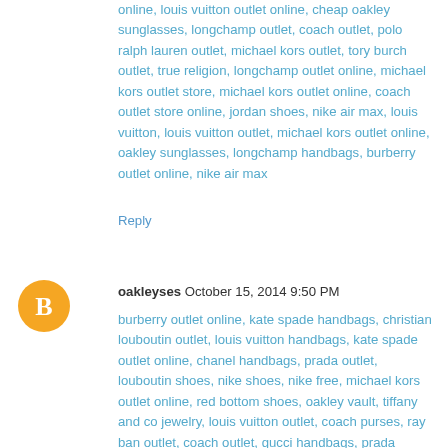online, louis vuitton outlet online, cheap oakley sunglasses, longchamp outlet, coach outlet, polo ralph lauren outlet, michael kors outlet, tory burch outlet, true religion, longchamp outlet online, michael kors outlet store, michael kors outlet online, coach outlet store online, jordan shoes, nike air max, louis vuitton, louis vuitton outlet, michael kors outlet online, oakley sunglasses, longchamp handbags, burberry outlet online, nike air max
Reply
[Figure (other): Orange circular avatar with white letter B, representing a Blogger user icon]
oakleyses October 15, 2014 9:50 PM
burberry outlet online, kate spade handbags, christian louboutin outlet, louis vuitton handbags, kate spade outlet online, chanel handbags, prada outlet, louboutin shoes, nike shoes, nike free, michael kors outlet online, red bottom shoes, oakley vault, tiffany and co jewelry, louis vuitton outlet, coach purses, ray ban outlet, coach outlet, gucci handbags, prada handbags, christian louboutin shoes, polo ralph lauren, ray ban sunglasses, michael kors outlet online, louis vuitton outlet online, cheap oakley sunglasses,